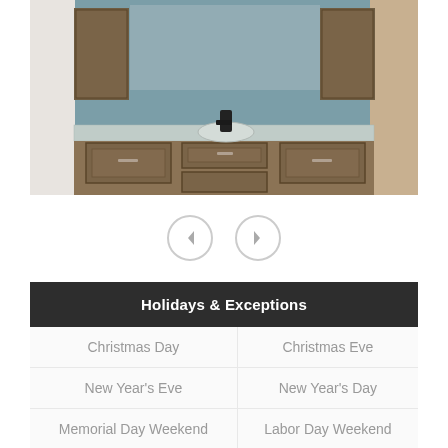[Figure (photo): Bathroom vanity display in a showroom, featuring dark wood-toned cabinets with raised panel doors, gray marble countertop with undermount sink, dark faucet, upper wall cabinets, and blue-gray wall.]
[Figure (illustration): Navigation arrows: left-pointing and right-pointing circular arrow buttons for an image carousel.]
| Holidays & Exceptions |  |
| --- | --- |
| Christmas Day | Christmas Eve |
| New Year's Eve | New Year's Day |
| Memorial Day Weekend | Labor Day Weekend |
| Palm Sunday | Easter Sunday |